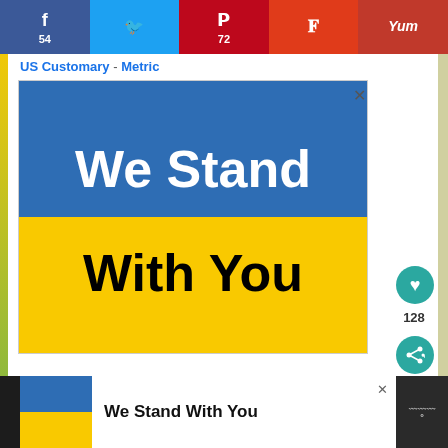Social share bar: Facebook 54, Twitter, Pinterest 72, Flipboard, Yummly
US Customary - Metric
[Figure (illustration): Ukraine flag colors banner with text 'We Stand With You' - blue top half with white bold text 'We Stand', yellow bottom half with black bold text 'With You'. Advertisement close button (x) in top right corner.]
[Figure (infographic): Bottom sticky ad bar showing small Ukraine flag icon and text 'We Stand With You' on white background, with close (x) button and Wholesome Yum logo on right]
128